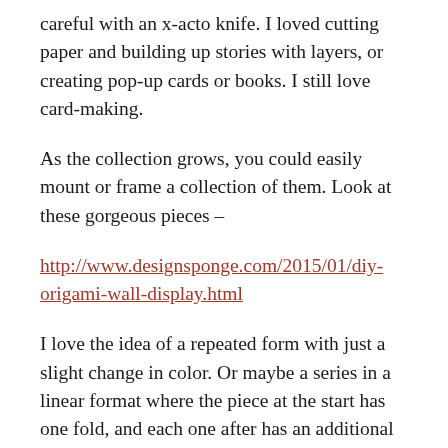careful with an x-acto knife. I loved cutting paper and building up stories with layers, or creating pop-up cards or books. I still love card-making.
As the collection grows, you could easily mount or frame a collection of them. Look at these gorgeous pieces –
http://www.designsponge.com/2015/01/diy-origami-wall-display.html
I love the idea of a repeated form with just a slight change in color. Or maybe a series in a linear format where the piece at the start has one fold, and each one after has an additional fold – you could watch the transformation from